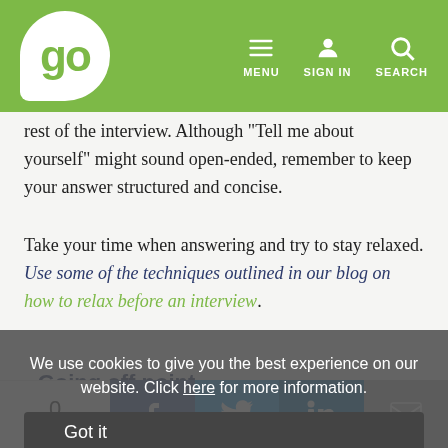go | MENU | SIGN IN | SEARCH
rest of the interview. Although "Tell me about yourself" might sound open-ended, remember to keep your answer structured and concise.
Take your time when answering and try to stay relaxed. Use some of the techniques outlined in our blog on how to relax before an interview.
Going off point
We use cookies to give you the best experience on our website. Click here for more information.
It is easy to go off topic when answering this interview question. Try to focus on the experience which is directly relevant to the job you're going for. Don't lead by saying you're a shoe maker if
0 SHARES | Facebook | Twitter | LinkedIn | Email